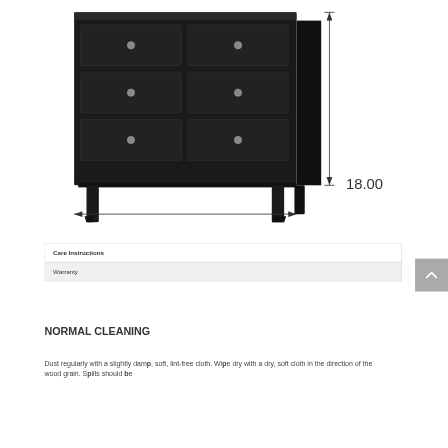[Figure (engineering-diagram): Dark espresso dresser/chest of drawers with 4 drawers and tapered legs, shown with a dimension line indicating 18.00 inches width at the base]
| Care Instructions |
| Warranty |
NORMAL CLEANING
Dust regularly with a slightly damp, soft, lint-free cloth.  Wipe dry with a dry, soft cloth in the direction of the wood grain.  Spills should be